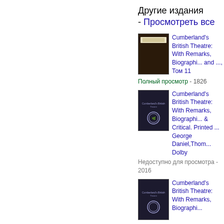Другие издания - Просмотреть все
[Figure (photo): Book cover thumbnail - dark brown/black book cover with label]
Cumberland's British Theatre: With Remarks, Biographi... and ..., Том 11
Полный просмотр - 1826
[Figure (photo): Book cover thumbnail - dark navy book cover with emblem]
Cumberland's British Theatre: With Remarks, Biographi... & Critical. Printed ... George Daniel,Thom... Dolby
Недоступно для просмотра - 2016
[Figure (photo): Book cover thumbnail - dark navy book cover with emblem, partial view]
Cumberland's British Theatre: With Remarks, Biographi...